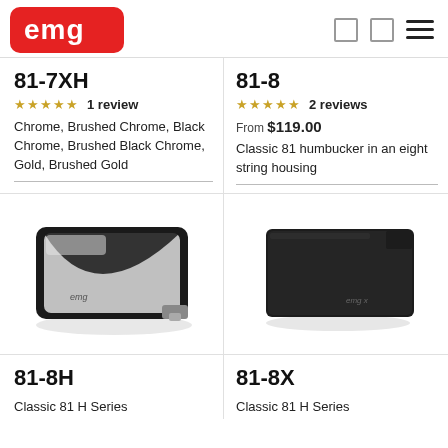EMG Pickups — navigation header with logo and menu icons
81-7XH
1 review
Chrome, Brushed Chrome, Black Chrome, Brushed Black Chrome, Gold, Brushed Gold
81-8
2 reviews
From $119.00
Classic 81 humbucker in an eight string housing
[Figure (photo): EMG 81-7XH guitar pickup in black chrome with silver face, showing EMG logo]
[Figure (photo): EMG 81-8X guitar pickup in matte black rectangular housing with EMG-X logo]
81-8H
81-8X
Classic 81 H Series